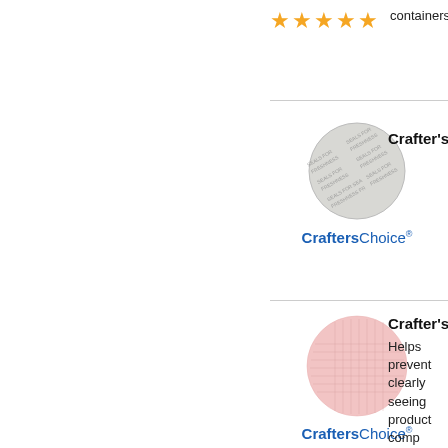[Figure (other): Five gold star rating at top]
containers us
[Figure (other): Crafter's Choice product with inductive seal image and logo]
Crafter's Cho
[Figure (other): Crafter's Choice product with pink mesh circle, logo, and five star rating]
Crafter's Cho
Helps prevent clearly seeing product comp containers us